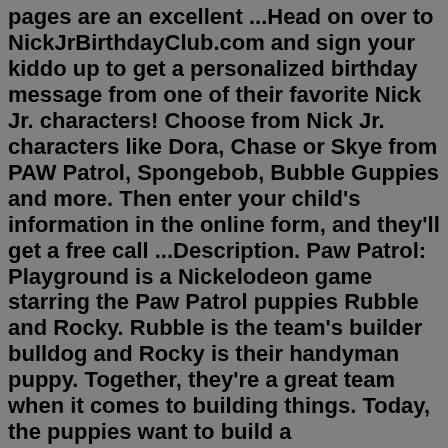pages are an excellent ...Head on over to NickJrBirthdayClub.com and sign your kiddo up to get a personalized birthday message from one of their favorite Nick Jr. characters! Choose from Nick Jr. characters like Dora, Chase or Skye from PAW Patrol, Spongebob, Bubble Guppies and more. Then enter your child's information in the online form, and they'll get a free call ...Description. Paw Patrol: Playground is a Nickelodeon game starring the Paw Patrol puppies Rubble and Rocky. Rubble is the team's builder bulldog and Rocky is their handyman puppy. Together, they're a great team when it comes to building things. Today, the puppies want to build a playground.Some of the games are also available for your tablets or Android and iOS phones. The most popular game is Starlight Sprint, which has been played 31603 times so far, and the most rated one is Howling Havoc, with 1574 votes received. These PJ Masks games received an aggregate rating of 77 / 100 from a total of 9804 votes.The PAW Patrol Air and Sea Adventures app teaches children pre-k math skills